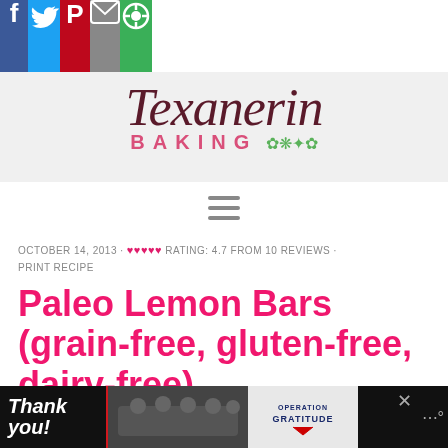[Figure (screenshot): Social media sharing bar with icons for Facebook (blue), Twitter (light blue), Pinterest (red), Email (gray), and a green share button]
[Figure (logo): Texanerin Baking logo — script font reading 'Texanerin' in dark red/maroon and 'BAKING' in spaced pink letters with decorative floral elements]
[Figure (other): Hamburger menu icon (three horizontal gray lines)]
OCTOBER 14, 2013 · ♥♥♥♥♥ RATING: 4.7 FROM 10 REVIEWS · PRINT RECIPE
Paleo Lemon Bars (grain-free, gluten-free, dairy-free)
[Figure (screenshot): Advertisement banner at bottom: 'Thank you!' text with American flag imagery, firefighters photo, Operation Gratitude logo, and close/menu buttons]